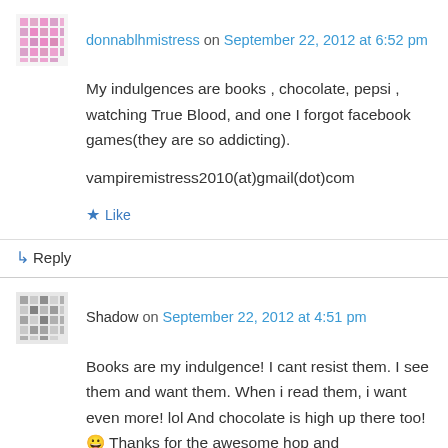donnablhmistress on September 22, 2012 at 6:52 pm
My indulgences are books , chocolate, pepsi , watching True Blood, and one I forgot facebook games(they are so addicting).

vampiremistress2010(at)gmail(dot)com
★ Like
↳ Reply
Shadow on September 22, 2012 at 4:51 pm
Books are my indulgence! I cant resist them. I see them and want them. When i read them, i want even more! lol And chocolate is high up there too! 😀 Thanks for the awesome hop and